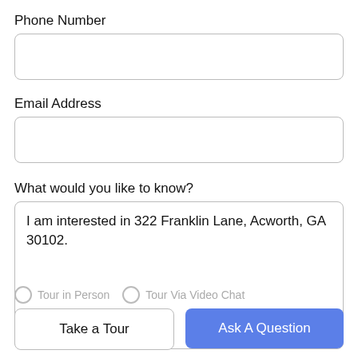Phone Number
[Figure (other): Empty phone number input field with rounded border]
Email Address
[Figure (other): Empty email address input field with rounded border]
What would you like to know?
[Figure (other): Textarea input field containing text: I am interested in 322 Franklin Lane, Acworth, GA 30102.]
Tour in Person
Tour Via Video Chat
Take a Tour
Ask A Question